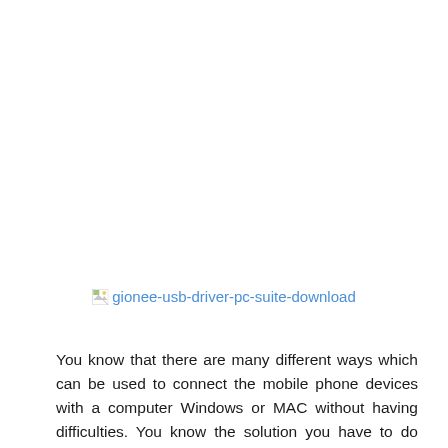[Figure (other): Broken image placeholder for 'gionee-usb-driver-pc-suite-download']
You know that there are many different ways which can be used to connect the mobile phone devices with a computer Windows or MAC without having difficulties. You know the solution you have to do before the connectivity of your device.
Nowadays, it's urgent or daily basis work which will